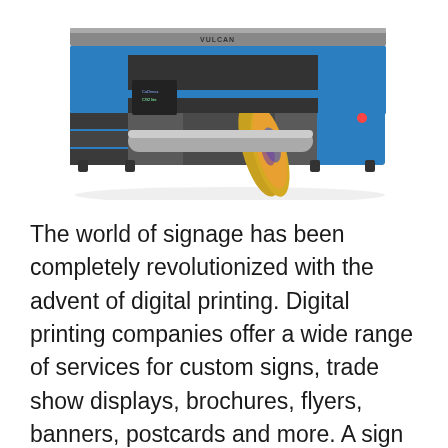[Figure (photo): A large format digital printing machine (wide-format printer/plotter) in blue and grey color, with a yellow/orange printed roll of material visible on the output. The machine appears to be a Vulcan brand large-format printer.]
The world of signage has been completely revolutionized with the advent of digital printing. Digital printing companies offer a wide range of services for custom signs, trade show displays, brochures, flyers, banners, postcards and more. A sign can be designed to meet a variety of needs from an